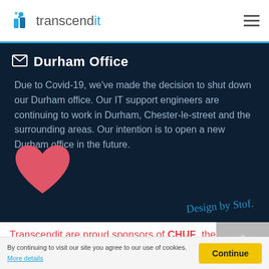transcendit
Durham Office
Due to Covid-19, we've made the decision to shut down our Durham office. Our IT support engineers are continuing to work in Durham, Chester-le-street and the surrounding areas. Our intention is to open a new Durham office in the future.
Design by Stof.
[Figure (illustration): Red heart shape icon]
Transcendit are proud sponsors of CHUF, the Children's Heart Unit Fund.
[Figure (photo): Partially visible grey building/house image]
By continuing to visit our site you agree to our use of cookies. More details